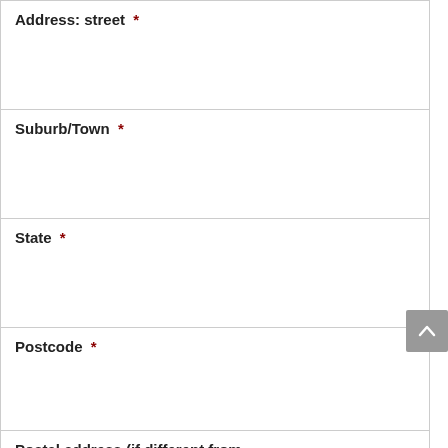Address: street *
Suburb/Town *
State *
Postcode *
Postal address (if different from above) *
Website *